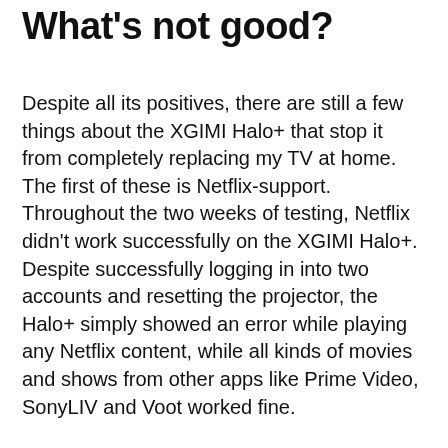What's not good?
Despite all its positives, there are still a few things about the XGIMI Halo+ that stop it from completely replacing my TV at home. The first of these is Netflix-support. Throughout the two weeks of testing, Netflix didn't work successfully on the XGIMI Halo+. Despite successfully logging in into two accounts and resetting the projector, the Halo+ simply showed an error while playing any Netflix content, while all kinds of movies and shows from other apps like Prime Video, SonyLIV and Voot worked fine.
The Halo+ is also, like most projectors, quite weak during the day. Unless you have a proper setup in your bedroom or living room